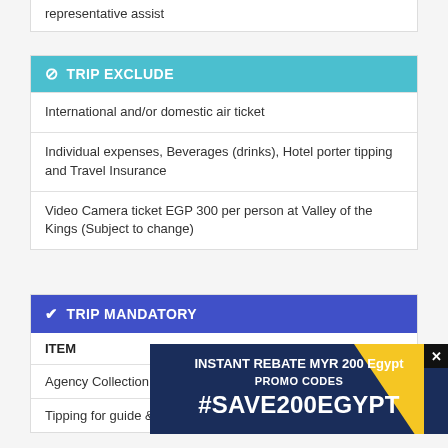representative assist
TRIP EXCLUDE
International and/or domestic air ticket
Individual expenses, Beverages (drinks), Hotel porter tipping and Travel Insurance
Video Camera ticket EGP 300 per person at Valley of the Kings (Subject to change)
TRIP MANDATORY
| ITEM |
| --- |
| Agency Collection |
| Tipping for guide & |
[Figure (infographic): Promotional popup banner: INSTANT REBATE MYR 200 Egypt PROMO CODES #SAVE200EGYPT with dark blue background and yellow triangle accent, close button top right]